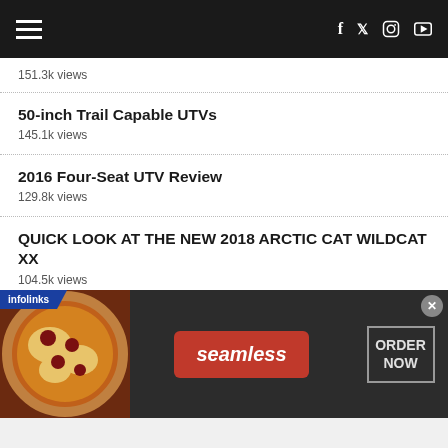Navigation header with hamburger menu and social icons (f, twitter, instagram, youtube)
151.3k views
50-inch Trail Capable UTVs
145.1k views
2016 Four-Seat UTV Review
129.8k views
QUICK LOOK AT THE NEW 2018 ARCTIC CAT WILDCAT XX
104.5k views
[Figure (screenshot): Infolinks advertisement banner for Seamless food delivery with pizza image, red Seamless logo, and ORDER NOW button]